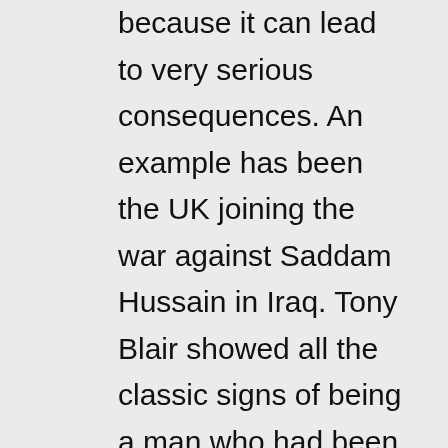because it can lead to very serious consequences. An example has been the UK joining the war against Saddam Hussain in Iraq. Tony Blair showed all the classic signs of being a man who had been bullied during childhood. As a result, he submitted to and tried to ingratiate himself to someone whom he saw as a more powerful bully – Bush. He therefore agreed to go to war as Bush's ally and he himself used bullying of people in the same position in regard to him, in the process of hoodwinking the UK parliament into supporting the war